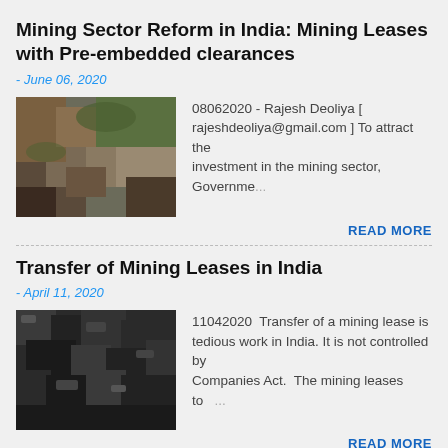Mining Sector Reform in India: Mining Leases with Pre-embedded clearances
- June 06, 2020
[Figure (photo): Photo of rocky mining terrain with stones and moss]
08062020 - Rajesh Deoliya  [ rajeshdeoliya@gmail.com ] To attract the investment in the mining sector, Governme...
READ MORE
Transfer of Mining Leases in India
- April 11, 2020
[Figure (photo): Photo of black coal/rock chunks]
11042020  Transfer of a mining lease is tedious work in India. It is not controlled by Companies Act.  The mining leases to ...
READ MORE